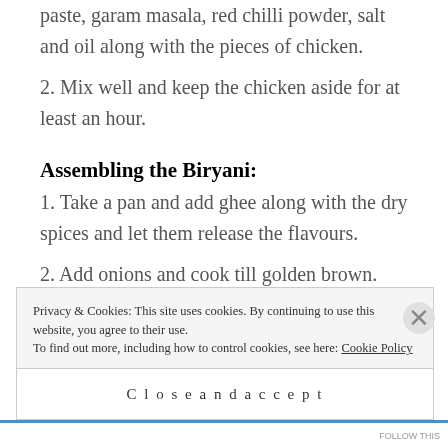paste, garam masala, red chilli powder, salt and oil along with the pieces of chicken.
2. Mix well and keep the chicken aside for at least an hour.
Assembling the Biryani:
1. Take a pan and add ghee along with the dry spices and let them release the flavours.
2. Add onions and cook till golden brown. Then add in the tomatoes and let the tomatoes cook down for another 5-10 mins.
Privacy & Cookies: This site uses cookies. By continuing to use this website, you agree to their use. To find out more, including how to control cookies, see here: Cookie Policy
Close and accept